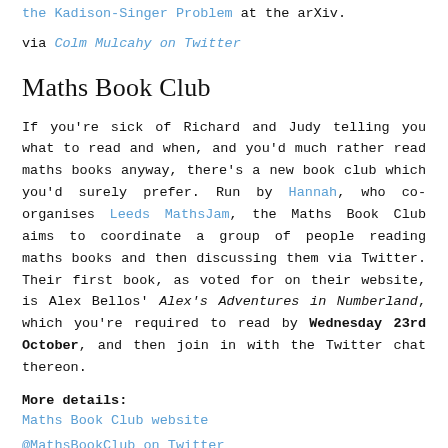the Kadison-Singer Problem at the arXiv.
via Colm Mulcahy on Twitter
Maths Book Club
If you're sick of Richard and Judy telling you what to read and when, and you'd much rather read maths books anyway, there's a new book club which you'd surely prefer. Run by Hannah, who co-organises Leeds MathsJam, the Maths Book Club aims to coordinate a group of people reading maths books and then discussing them via Twitter. Their first book, as voted for on their website, is Alex Bellos' Alex's Adventures in Numberland, which you're required to read by Wednesday 23rd October, and then join in with the Twitter chat thereon.
More details:
Maths Book Club website
@MathsBookClub on Twitter
Revolutionary π file storage system